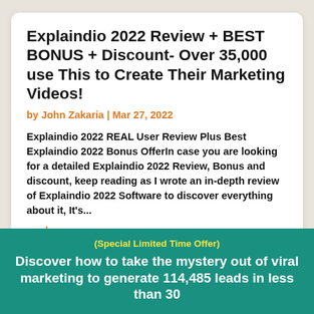Explaindio 2022 Review + BEST BONUS + Discount- Over 35,000 use This to Create Their Marketing Videos!
by John Zakaria | Mar 27, 2022
Explaindio 2022 REAL User Review Plus Best Explaindio 2022 Bonus OfferIn case you are looking for a detailed Explaindio 2022 Review, Bonus and discount, keep reading as I wrote an in-depth review of Explaindio 2022 Software to discover everything about it, It's...
read more
(Special Limited Time Offer)
Discover how to take the mystery out of viral marketing to generate 114,485 leads in less than 30